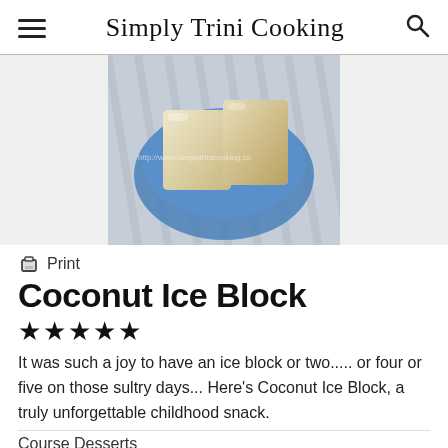Simply Trini Cooking
[Figure (photo): Coconut ice block pieces in a blue glass bowl on a striped cloth background, with watermark text http://www.simplytrinicooking.com]
Print
Coconut Ice Block
★★★★★
It was such a joy to have an ice block or two..... or four or five on those sultry days... Here's Coconut Ice Block, a truly unforgettable childhood snack.
Course Desserts